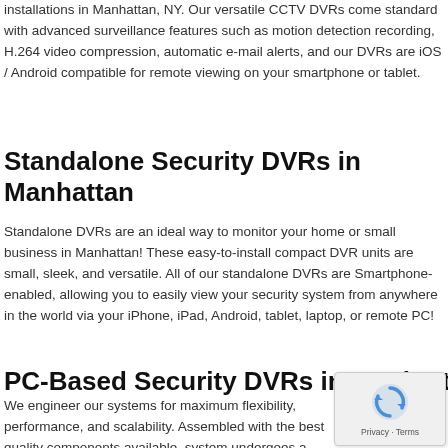installations in Manhattan, NY. Our versatile CCTV DVRs come standard with advanced surveillance features such as motion detection recording, H.264 video compression, automatic e-mail alerts, and our DVRs are iOS / Android compatible for remote viewing on your smartphone or tablet.
Standalone Security DVRs in Manhattan
Standalone DVRs are an ideal way to monitor your home or small business in Manhattan! These easy-to-install compact DVR units are small, sleek, and versatile. All of our standalone DVRs are Smartphone-enabled, allowing you to easily view your security system from anywhere in the world via your iPhone, iPad, Android, tablet, laptop, or remote PC!
PC-Based Security DVRs in Manhattan
We engineer our systems for maximum flexibility, performance, and scalability. Assembled with the best quality components available, system undergoes a rigorous 72-point inspection by our highly qu technicians in Manhattan. Your system can be safely viewed from anywhere